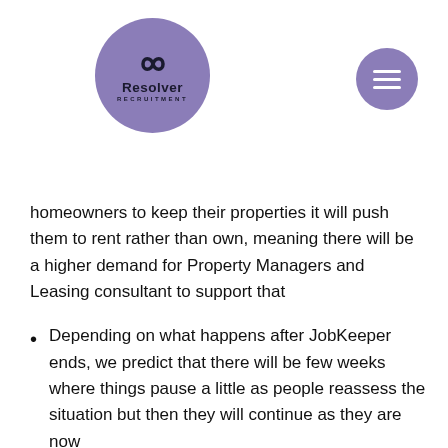[Figure (logo): Resolver Recruitment logo — circular purple background with stylized chain/link icon above the text 'Resolver RECRUITMENT']
[Figure (other): Purple circular hamburger/menu button icon in top right corner]
homeowners to keep their properties it will push them to rent rather than own, meaning there will be a higher demand for Property Managers and Leasing consultant to support that
Depending on what happens after JobKeeper ends, we predict that there will be few weeks where things pause a little as people reassess the situation but then they will continue as they are now
Employers will become less rushed in the hiring of staff and look to do it more thoroughly and therefore the job market will be very competitive.